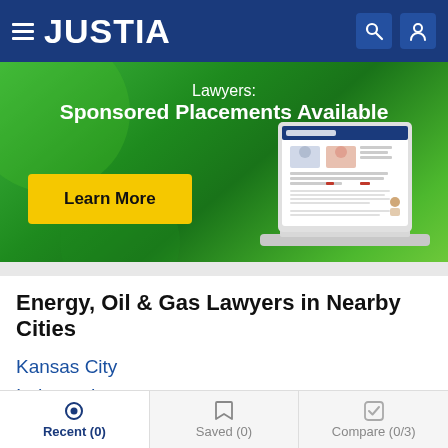JUSTIA
[Figure (infographic): Justia Lawyers promotional banner with green background, text 'Lawyers: Sponsored Placements Available', a yellow 'Learn More' button, and a laptop illustration showing the Justia Lawyers website.]
Energy, Oil & Gas Lawyers in Nearby Cities
Kansas City
Independence
Lee's Summit
Blue Springs
Recent (0)   Saved (0)   Compare (0/3)